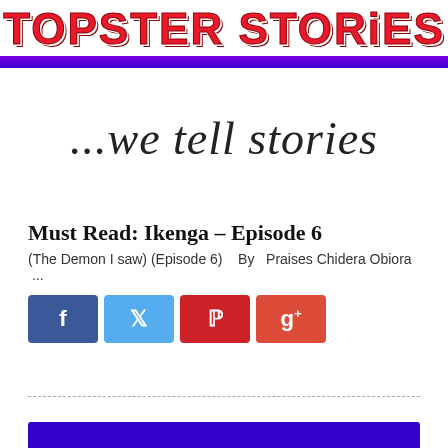TOPSTER STORIES
[Figure (illustration): Cursive handwritten-style tagline reading '...we tell stories' in black script on white background]
Must Read: Ikenga – Episode 6
(The Demon I saw) (Episode 6)   By   Praises Chidera Obiora  ...
[Figure (infographic): Social media share buttons: Facebook (blue), Twitter (light blue), Pinterest (red), Google+ (red-orange)]